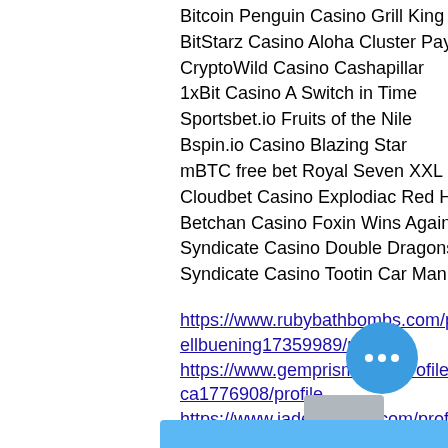Bitcoin Penguin Casino Grill King
BitStarz Casino Aloha Cluster Pays
CryptoWild Casino Cashapillar
1xBit Casino A Switch in Time
Sportsbet.io Fruits of the Nile
Bspin.io Casino Blazing Star
mBTC free bet Royal Seven XXL
Cloudbet Casino Explodiac Red Hot Firepot
Betchan Casino Foxin Wins Again
Syndicate Casino Double Dragons
Syndicate Casino Tootin Car Man
https://www.rubybathbombs.com/profile/donnellbuening17359989/profile
https://www.gemprism.com/profile/yeeapodaca1776908/profile
https://www.jadehelliwell.com/profile/hassieabler3781304/profile
https://www.eltonvargas.com/profile/heemei2633427/profile